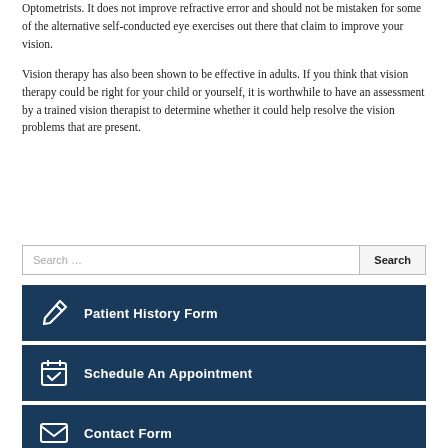Optometrists. It does not improve refractive error and should not be mistaken for some of the alternative self-conducted eye exercises out there that claim to improve your vision.
Vision therapy has also been shown to be effective in adults. If you think that vision therapy could be right for your child or yourself, it is worthwhile to have an assessment by a trained vision therapist to determine whether it could help resolve the vision problems that are present.
Search …
Patient History Form
Schedule An Appointment
Contact Form